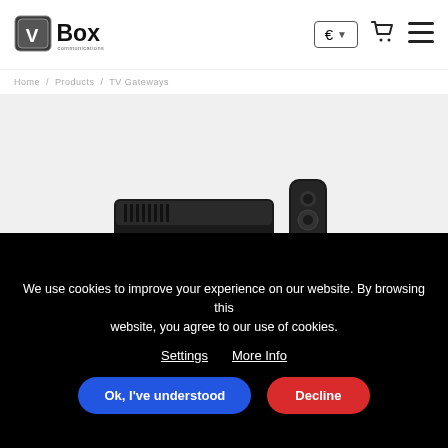VBox Communications — € dropdown, cart icon, hamburger menu
breadcrumb navigation (faint text)
[Figure (photo): VBox set-top box device and remote control on light grey background]
partial product title text (cut off at bottom of product area)
We use cookies to improve your experience on our website. By browsing this website, you agree to our use of cookies.
Settings   More Info
[Ok, I've understood]  [Decline]